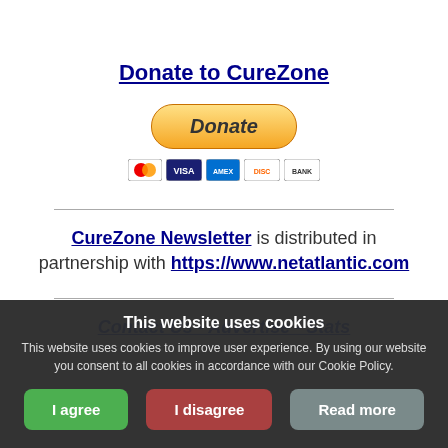Donate to CureZone
[Figure (other): PayPal donate button with yellow pill-shaped button labeled 'Donate' in italic bold, and below it credit card icons: Mastercard, VISA, American Express, Discover, Bank]
CureZone Newsletter is distributed in partnership with https://www.netatlantic.com
Contact Us - Advertise - Stats
This website uses cookies
This website uses cookies to improve user experience. By using our website you consent to all cookies in accordance with our Cookie Policy.
I agree   I disagree   Read more